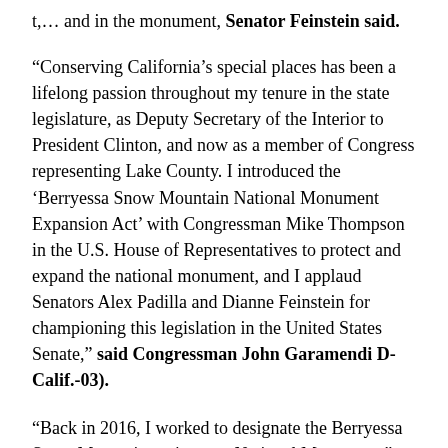t,… and in the monument, Senator Feinstein said.
“Conserving California’s special places has been a lifelong passion throughout my tenure in the state legislature, as Deputy Secretary of the Interior to President Clinton, and now as a member of Congress representing Lake County. I introduced the ‘Berryessa Snow Mountain National Monument Expansion Act’ with Congressman Mike Thompson in the U.S. House of Representatives to protect and expand the national monument, and I applaud Senators Alex Padilla and Dianne Feinstein for championing this legislation in the United States Senate,” said Congressman John Garamendi D-Calif.-03).
“Back in 2016, I worked to designate the Berryessa Snow Mountain region as a National Monument,” said Congressman Mike Thompson (D-Calif.-05). “Earlier this year, I co-authored to join Rep. Garamendi to expand and help…